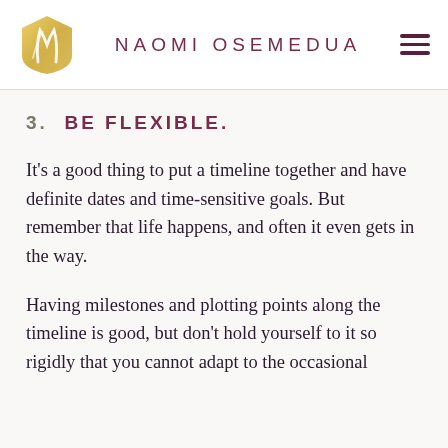NAOMI OSEMEDUA
3.  BE FLEXIBLE.
It's a good thing to put a timeline together and have definite dates and time-sensitive goals. But remember that life happens, and often it even gets in the way.
Having milestones and plotting points along the timeline is good, but don't hold yourself to it so rigidly that you cannot adapt to the occasional